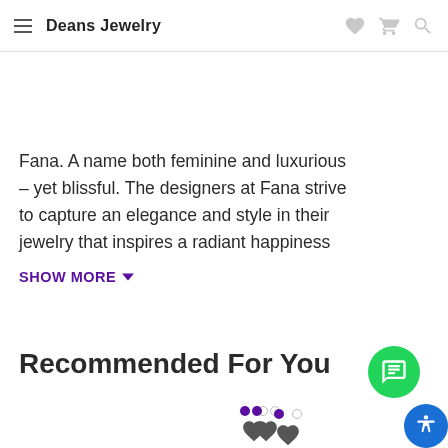Deans Jewelry
Fana. A name both feminine and luxurious – yet blissful. The designers at Fana strive to capture an elegance and style in their jewelry that inspires a radiant happiness
SHOW MORE
Recommended For You